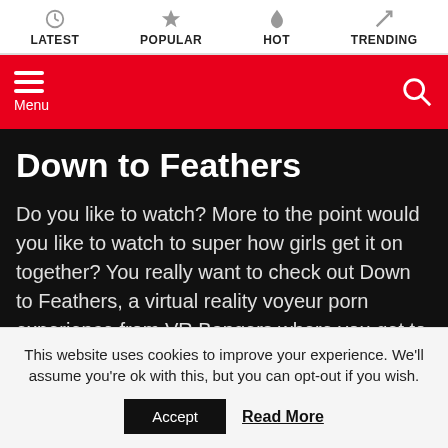LATEST | POPULAR | HOT | TRENDING
Down to Feathers
Do you like to watch? More to the point would you like to watch to super how girls get it on together? You really want to check out Down to Feathers, a virtual reality voyeur porn experience from VR Bangers where you get to sit back and relax while watching Sabina Rouge and Vanna Bardet get it on together. If
This website uses cookies to improve your experience. We'll assume you're ok with this, but you can opt-out if you wish.